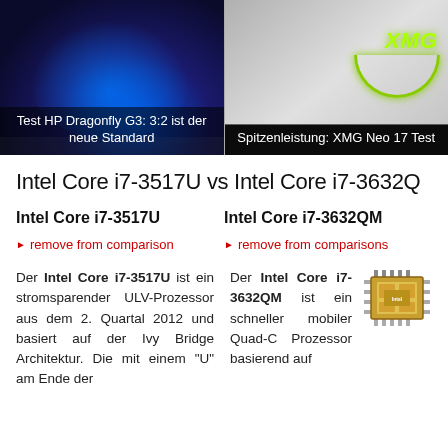[Figure (photo): HP Dragonfly G3 laptop showing Windows 11 wallpaper with caption 'Test HP Dragonfly G3: 3:2 ist der neue Standard']
[Figure (photo): XMG Neo 17 laptop with green XMG logo and arc, with caption 'Spitzenleistung: XMG Neo 17 Test']
Intel Core i7-3517U vs Intel Core i7-3632Q
Intel Core i7-3517U
Intel Core i7-3632QM
► remove from comparison
► remove from comparisons
Der Intel Core i7-3517U ist ein stromsparender ULV-Prozessor aus dem 2. Quartal 2012 und basiert auf der Ivy Bridge Architektur. Die mit einem "U" am Ende der
Der Intel Core i7-3632QM ist ein schneller mobiler Quad-C Prozessor basierend auf
[Figure (photo): Intel CPU chip image]